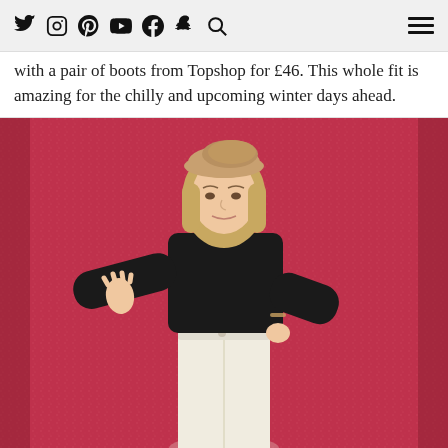Social media navigation icons: Twitter, Instagram, Pinterest, YouTube, Facebook, Snapchat, Search, and hamburger menu
with a pair of boots from Topshop for £46.  This whole fit is amazing for the chilly and upcoming winter days ahead.
[Figure (photo): Young woman wearing a tan beret, black turtleneck sweater, and white jeans, posing against a red glitter backdrop with one hand pressed against the wall.]